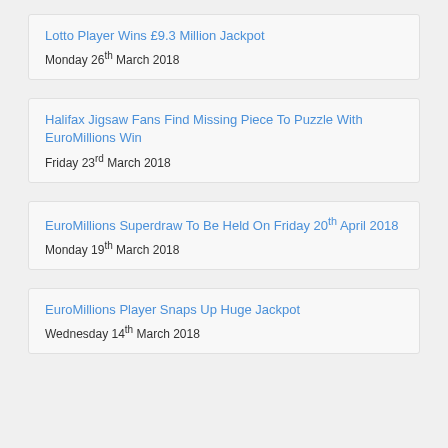Lotto Player Wins £9.3 Million Jackpot
Monday 26th March 2018
Halifax Jigsaw Fans Find Missing Piece To Puzzle With EuroMillions Win
Friday 23rd March 2018
EuroMillions Superdraw To Be Held On Friday 20th April 2018
Monday 19th March 2018
EuroMillions Player Snaps Up Huge Jackpot
Wednesday 14th March 2018